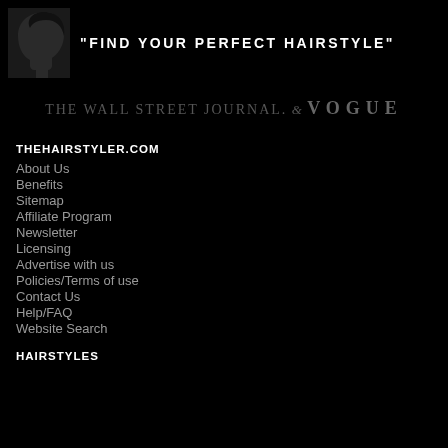[Figure (illustration): Banner with woman's face silhouette profile on black background with text FIND YOUR PERFECT HAIRSTYLE]
[Figure (logo): The Wall Street Journal & Vogue logos in dark gray text on black background]
THEHAIRSTYLER.COM
About Us
Benefits
Sitemap
Affiliate Program
Newsletter
Licensing
Advertise with us
Policies/Terms of use
Contact Us
Help/FAQ
Website Search
HAIRSTYLES